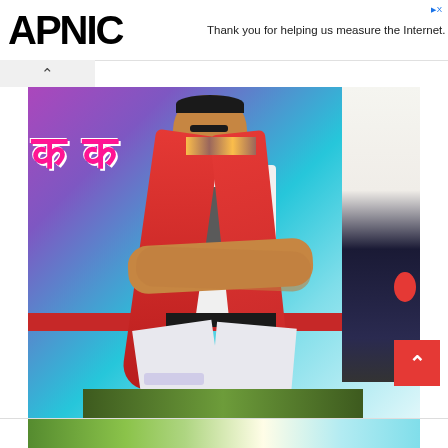APNIC — Thank you for helping us measure the Internet.
[Figure (photo): A man wearing a red scarf/shawl over a white graphic t-shirt and white ripped jeans, sitting with arms crossed at what appears to be a public event with Devanagari script banners in pink in the background. A second person is partially visible on the right side.]
[Figure (photo): Partial bottom strip showing what appears to be the top of another photo below, with trees visible.]